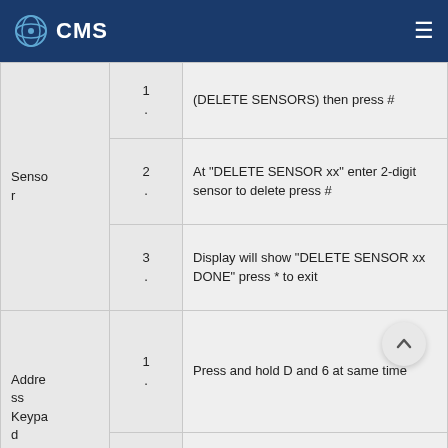CMS
| Category | Step | Description |
| --- | --- | --- |
| Sensor | 1. | (DELETE SENSORS) then press # |
|  | 2. | At "DELETE SENSOR xx" enter 2-digit sensor to delete press # |
|  | 3. | Display will show "DELETE SENSOR xx DONE" press * to exit |
| Address Keypad | 1. | Press and hold D and 6 at same time |
|  | 2. | Display should show DA xx (xx = current address) |